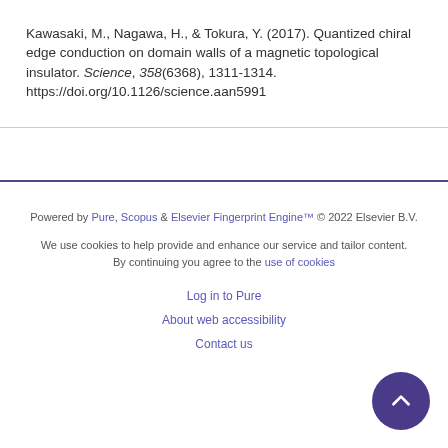Kawasaki, M., Nagawa, H., & Tokura, Y. (2017). Quantized chiral edge conduction on domain walls of a magnetic topological insulator. Science, 358(6368), 1311-1314. https://doi.org/10.1126/science.aan5991
Powered by Pure, Scopus & Elsevier Fingerprint Engine™ © 2022 Elsevier B.V.
We use cookies to help provide and enhance our service and tailor content. By continuing you agree to the use of cookies
Log in to Pure
About web accessibility
Contact us